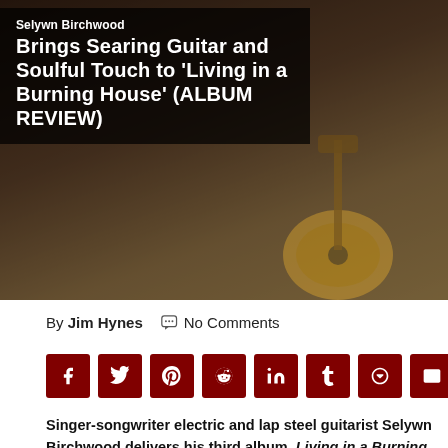[Figure (photo): Hero image of album artwork and guitar, dark background with warm tones. Title overlay text reads: 'Selwyn Birchwood Brings Searing Guitar and Soulful Touch to Living in a Burning House (ALBUM REVIEW)']
Selwyn Birchwood Brings Searing Guitar and Soulful Touch to 'Living in a Burning House' (ALBUM REVIEW)
By Jim Hynes  No Comments
Singer-songwriter electric and lap steel guitarist Selywn Birchwood delivers his third album, Living in a Burning House, for Alligator Records. He is one of the most appealing of the young vanguard of blues musicians keeping the music alive while melding in some other forms of roots music in the process. Birchwood calls his original music "electric swamp funkin' blues" defined by raw and soulful musicianship. His